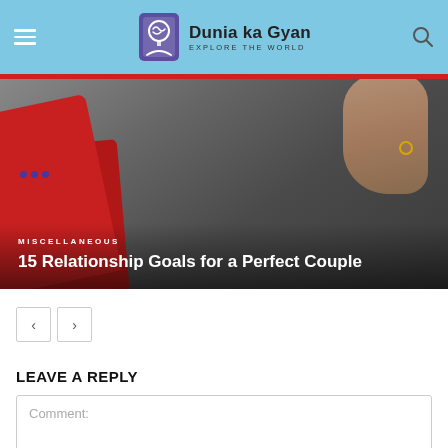Dunia ka Gyan — Explore The World
[Figure (photo): Hero image showing a hand holding red envelopes/cards against a dark background, with overlay text: MISCELLANEOUS category label and article title '15 Relationship Goals for a Perfect Couple']
MISCELLANEOUS
15 Relationship Goals for a Perfect Couple
LEAVE A REPLY
Comment: